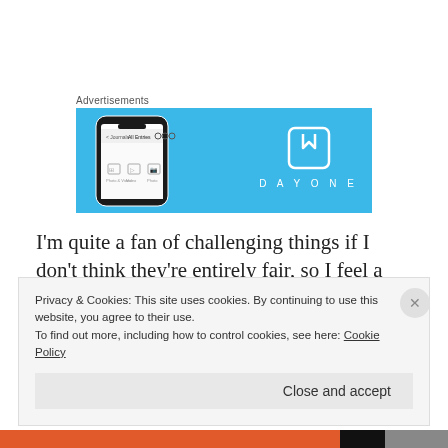Advertisements
[Figure (screenshot): DayOne app advertisement banner with light blue background showing a smartphone mockup on the left displaying the DayOne app interface, and the DayOne logo (bookmark icon) with text 'DAYONE' on the right]
I'm quite a fan of challenging things if I don't think they're entirely fair, so I feel a carefully worded email coming on.  If that doesn't work out, it's back to plan A: convincing friends and family that they love my cakes so
Privacy & Cookies: This site uses cookies. By continuing to use this website, you agree to their use.
To find out more, including how to control cookies, see here: Cookie Policy
Close and accept